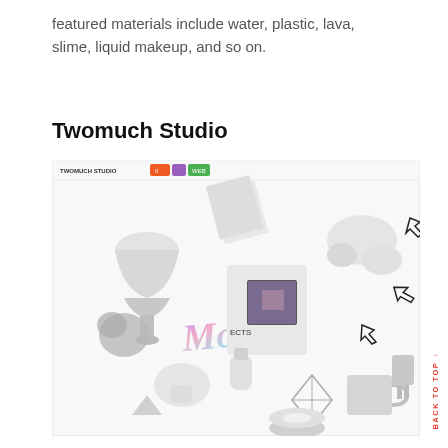featured materials include water, plastic, lava, slime, liquid makeup, and so on.
Twomuch Studio
[Figure (screenshot): Screenshot of Twomuch Studio website showing a 3D rendered scene with various white objects including cups, bottles, hands, geometric shapes, and colorful iridescent text floating on a white background, with navigation bar showing 'TWOMUCH STUDIO' and colored menu buttons in orange, purple, and green.]
BACK TO TOP ↑